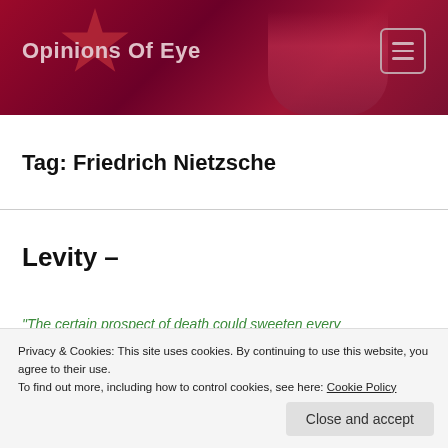Opinions Of Eye
Tag: Friedrich Nietzsche
Levity –
“The certain prospect of death could sweeten every
Privacy & Cookies: This site uses cookies. By continuing to use this website, you agree to their use.
To find out more, including how to control cookies, see here: Cookie Policy
Close and accept